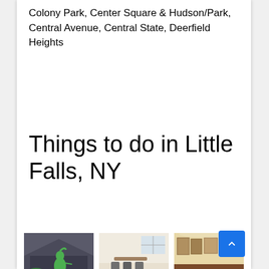Colony Park, Center Square & Hudson/Park, Central Avenue, Central State, Deerfield Heights
Things to do in Little Falls, NY
[Figure (photo): Photo of Ace of Diamonds Mine & Campground showing a green dinosaur statue outside a dark building]
Ace of Diamonds Mine & Campground
[Figure (photo): Interior photo of Ann Street Restaurant & Deli showing tables and chairs]
Ann Street Restaurant & Deli
[Figure (photo): Interior photo of Arkell Museum showing paintings on walls in a gallery room]
Arkell Museum